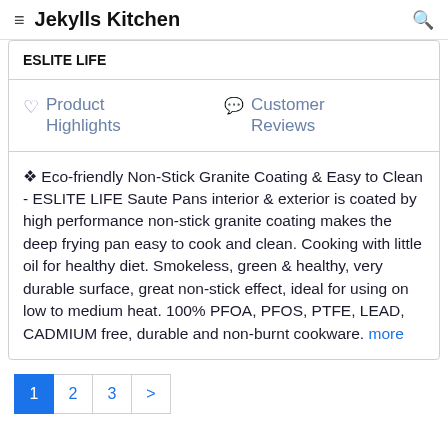Jekylls Kitchen
ESLITE LIFE
Product Highlights
Customer Reviews
🍳 Eco-friendly Non-Stick Granite Coating & Easy to Clean - ESLITE LIFE Saute Pans interior & exterior is coated by high performance non-stick granite coating makes the deep frying pan easy to cook and clean. Cooking with little oil for healthy diet. Smokeless, green & healthy, very durable surface, great non-stick effect, ideal for using on low to medium heat. 100% PFOA, PFOS, PTFE, LEAD, CADMIUM free, durable and non-burnt cookware. more
1 2 3 >